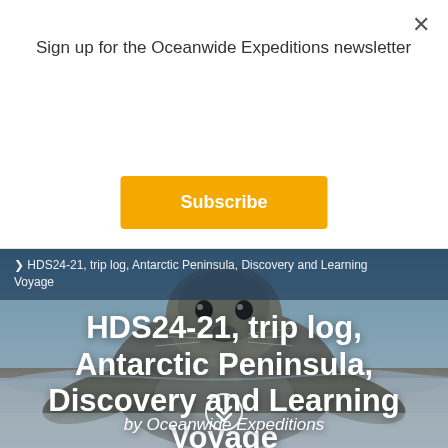Sign up for the Oceanwide Expeditions newsletter
Subscribe
HDS24-21, trip log, Antarctic Peninsula, Discovery and Learning Voyage
HDS24-21, trip log, Antarctic Peninsula, Discovery and Learning Voyage
by Oceanwide Expeditions
[Figure (photo): A Weddell seal sitting on snow/ice with a blurred blue icy background, facing the camera]